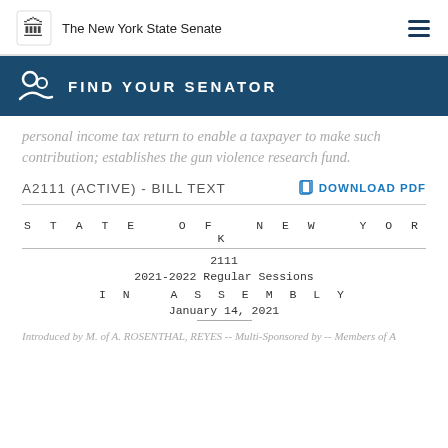The New York State Senate
FIND YOUR SENATOR
personal income tax return to enable a taxpayer to make such contribution; establishes the gun violence research fund.
A2111 (ACTIVE) - BILL TEXT
DOWNLOAD PDF
STATE OF NEW YORK
2111
2021-2022 Regular Sessions
IN ASSEMBLY
January 14, 2021